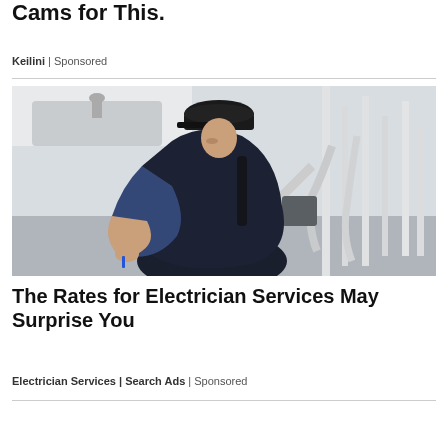Cams for This.
Keilini | Sponsored
[Figure (photo): A male plumber or electrician in a black cap and dark overalls crouching and working under a sink with pipes and plumbing visible]
The Rates for Electrician Services May Surprise You
Electrician Services | Search Ads | Sponsored